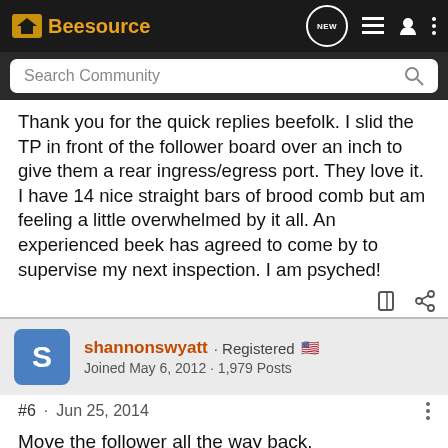Beesource
Search Community
Thank you for the quick replies beefolk. I slid the TP in front of the follower board over an inch to give them a rear ingress/egress port. They love it. I have 14 nice straight bars of brood comb but am feeling a little overwhelmed by it all. An experienced beek has agreed to come by to supervise my next inspection. I am psyched!
shannonswyatt · Registered
Joined May 6, 2012 · 1,979 Posts
#6 · Jun 25, 2014
Move the follower all the way back.